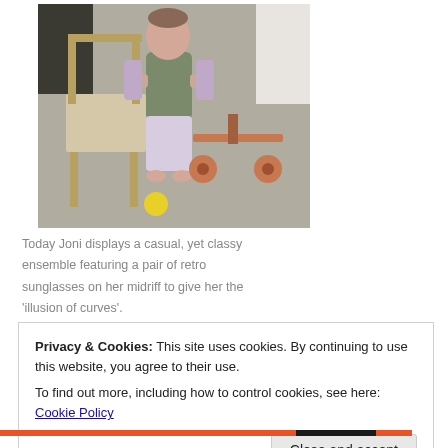[Figure (photo): A toddler in a grey vest and purple long-sleeve shirt standing between a small wooden chair and a wooden push scooter toy, with a yellow ball on the floor.]
Today Joni displays a casual, yet classy ensemble featuring a pair of retro sunglasses on her midriff to give her the 'illusion of curves'.
Privacy & Cookies: This site uses cookies. By continuing to use this website, you agree to their use.
To find out more, including how to control cookies, see here: Cookie Policy